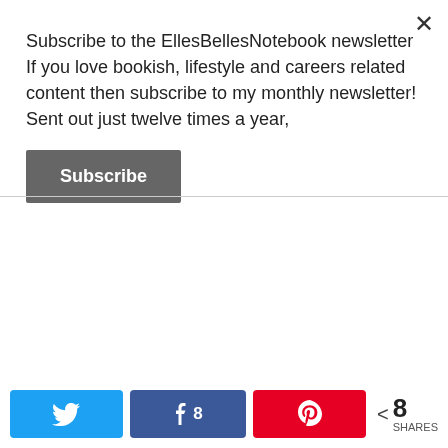Subscribe to the EllesBellesNotebook newsletter If you love bookish, lifestyle and careers related content then subscribe to my monthly newsletter! Sent out just twelve times a year,
Subscribe
[Figure (other): Social sharing bar with Twitter, Facebook (8 shares), Pinterest buttons and total shares count of 8]